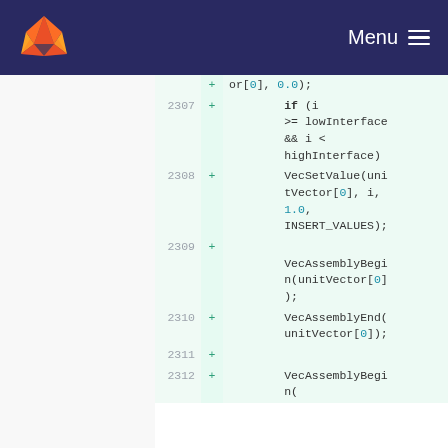GitLab — Menu
[Figure (screenshot): Code diff view showing lines 2307-2312 with added lines containing C code: if (i >= lowInterface && i < highInterface), VecSetValue(unitVector[0], i, 1.0, INSERT_VALUES);, VecAssemblyBegin(unitVector[0]);, VecAssemblyEnd(unitVector[0]);, blank lines, VecAssemblyBegin(]